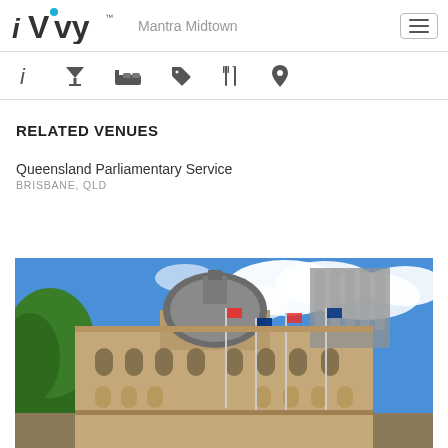iVvy — Mantra Midtown
RELATED VENUES
Queensland Parliamentary Service
BRISBANE, QLD
[Figure (photo): Exterior photo of Queensland Parliamentary Service building in Brisbane — a heritage sandstone building with a dome, arched windows, flagpoles, trees, and a modern tower behind it under a blue sky with clouds.]